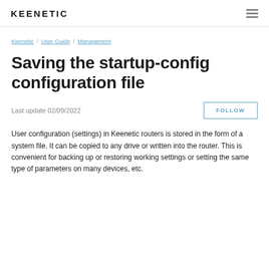KEENETIC
Keenetic / User Guide / Management
Saving the startup-config configuration file
Last update 02/09/2022
User configuration (settings) in Keenetic routers is stored in the form of a system file. It can be copied to any drive or written into the router. This is convenient for backing up or restoring working settings or setting the same type of parameters on many devices, etc.